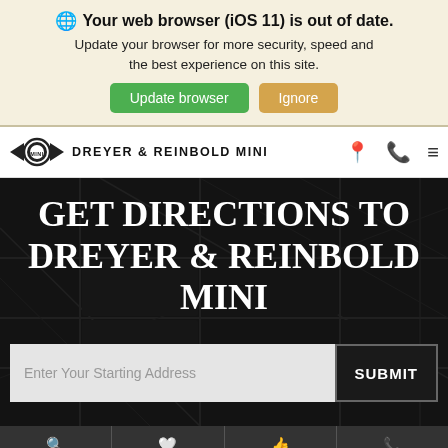Your web browser (iOS 11) is out of date. Update your browser for more security, speed and the best experience on this site.
Update browser | Ignore
DREYER & REINBOLD MINI
GET DIRECTIONS TO DREYER & REINBOLD MINI
Enter Your Starting Address | SUBMIT
Search | Saved | Share | Contact